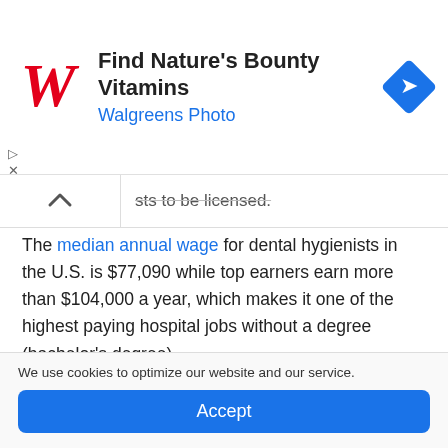[Figure (infographic): Walgreens advertisement banner with red cursive W logo on left, bold text 'Find Nature's Bounty Vitamins' and blue 'Walgreens Photo' subtitle, blue diamond navigation icon on right]
...sts to be licensed.
The median annual wage for dental hygienists in the U.S. is $77,090 while top earners earn more than $104,000 a year, which makes it one of the highest paying hospital jobs without a degree (bachelor's degree).
4. Dental Assistant
We use cookies to optimize our website and our service.
Accept